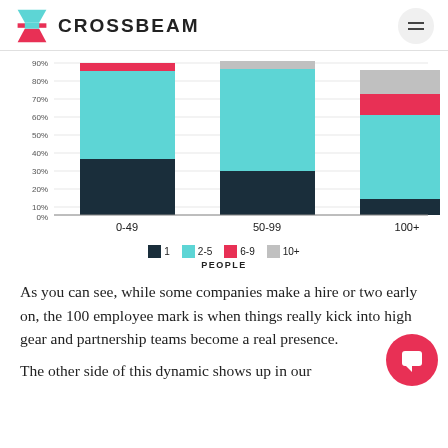[Figure (logo): Crossbeam logo with teal/red hourglass icon and bold text CROSSBEAM]
[Figure (stacked-bar-chart): Partnership team size by company size]
As you can see, while some companies make a hire or two early on, the 100 employee mark is when things really kick into high gear and partnership teams become a real presence.
The other side of this dynamic shows up in our